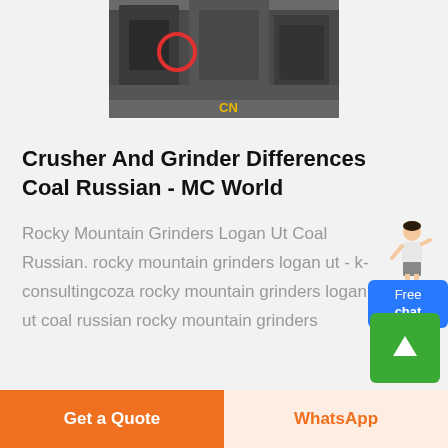[Figure (photo): Industrial coal crusher/grinder machine in a factory setting, large dark machinery with a red circular highlight and yellow CN label]
Crusher And Grinder Differences Coal Russian - MC World
Rocky Mountain Grinders Logan Ut Coal Russian. rocky mountain grinders logan ut - k-consultingcoza rocky mountain grinders logan ut coal russian rocky mountain grinders
Get a Quote | WhatsApp